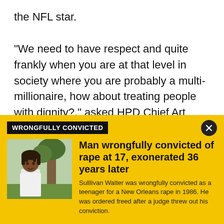the NFL star.

"We need to have respect and quite frankly when you are at that level in society where you are probably a multi-millionaire, how about treating people with dignity?," asked HPD Chief Art Acevedo. "But more important, how about not putting your hands on a 66-year-old paraplegic?" That is what Bennett allegedly did to a wheelchair-bound NRG Stadium employee. A Harris County grand jury indicted Bennett with injury
WRONGFULLY CONVICTED
[Figure (photo): Photo of a man with dreadlocks wearing a white t-shirt, standing outdoors near a tree with greenery in background]
Man wrongfully convicted of rape at 17, exonerated 36 years later
Sulllivan Walter was wrongfully convicted as a teenager for a New Orleans rape in 1986. He was ordered freed after a judge threw out his conviction.